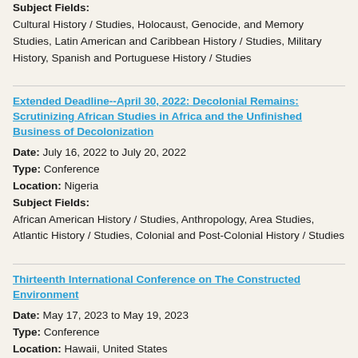Subject Fields:
Cultural History / Studies, Holocaust, Genocide, and Memory Studies, Latin American and Caribbean History / Studies, Military History, Spanish and Portuguese History / Studies
Extended Deadline--April 30, 2022: Decolonial Remains: Scrutinizing African Studies in Africa and the Unfinished Business of Decolonization
Date: July 16, 2022 to July 20, 2022
Type: Conference
Location: Nigeria
Subject Fields:
African American History / Studies, Anthropology, Area Studies, Atlantic History / Studies, Colonial and Post-Colonial History / Studies
Thirteenth International Conference on The Constructed Environment
Date: May 17, 2023 to May 19, 2023
Type: Conference
Location: Hawaii, United States
Subject Fields:
Architecture and Architectural History, Environmental